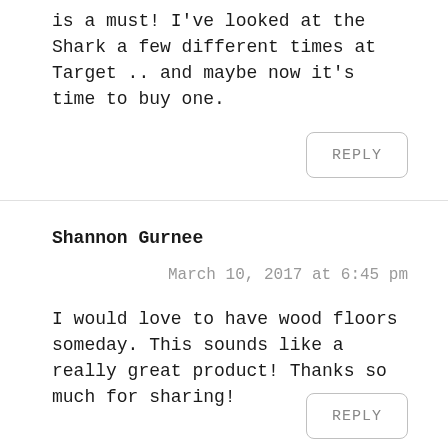is a must! I've looked at the Shark a few different times at Target .. and maybe now it's time to buy one.
REPLY
Shannon Gurnee
March 10, 2017 at 6:45 pm
I would love to have wood floors someday. This sounds like a really great product! Thanks so much for sharing!
REPLY